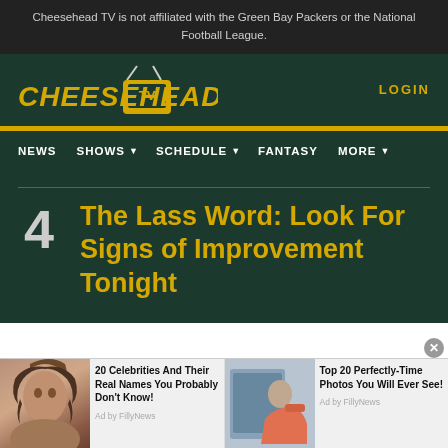Cheesehead TV is not affiliated with the Green Bay Packers or the National Football League.
[Figure (logo): Cheesehead TV logo with yellow stylized text and TV icon with antenna]
LOGIN
NEWS  SHOWS  SCHEDULE  FANTASY  MORE
4  The Lass Word: Look For Signs of Improvement Tonight
[Figure (photo): Advertisement: 20 Celebrities And Their Real Names You Probably Don't Know! Ad by FillyNews]
[Figure (photo): Advertisement: Top 20 Perfectly-Time Photos You Will Ever See! Ad by FillyNews]